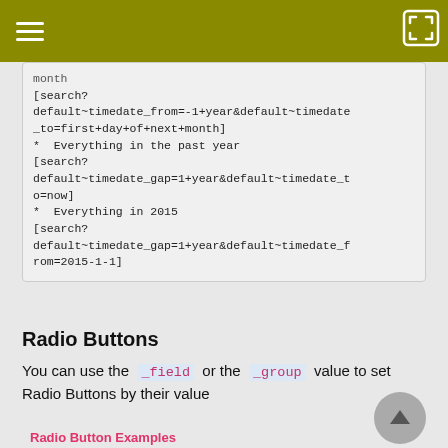month
[search?default~timedate_from=-1+year&default~timedate_to=first+day+of+next+month]
* Everything in the past year
[search?default~timedate_gap=1+year&default~timedate_to=now]
* Everything in 2015
[search?default~timedate_gap=1+year&default~timedate_from=2015-1-1]
Radio Buttons
You can use the _field or the _group value to set Radio Buttons by their value
Radio Button Examples